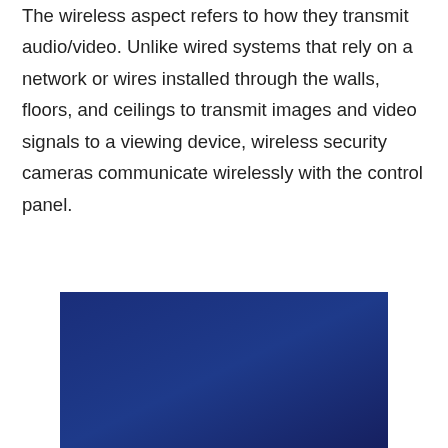The wireless aspect refers to how they transmit audio/video. Unlike wired systems that rely on a network or wires installed through the walls, floors, and ceilings to transmit images and video signals to a viewing device, wireless security cameras communicate wirelessly with the control panel.
[Figure (photo): A rectangular image with a dark blue gradient background, likely a photo or video frame related to wireless security cameras.]